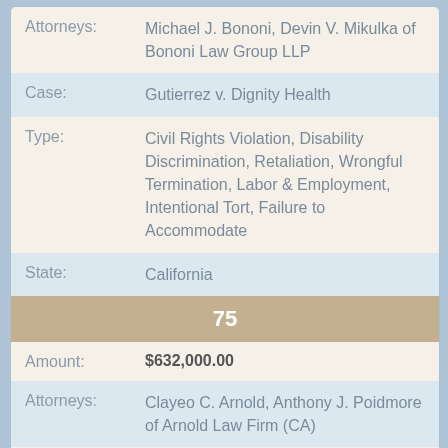| Attorneys: | Michael J. Bononi, Devin V. Mikulka of Bononi Law Group LLP |
| Case: | Gutierrez v. Dignity Health |
| Type: | Civil Rights Violation, Disability Discrimination, Retaliation, Wrongful Termination, Labor & Employment, Intentional Tort, Failure to Accommodate |
| State: | California |
75
| Amount: | $632,000.00 |
| Attorneys: | Clayeo C. Arnold, Anthony J. Poidmore of Arnold Law Firm (CA) |
| Case: | Schmidt v. Shasta County |